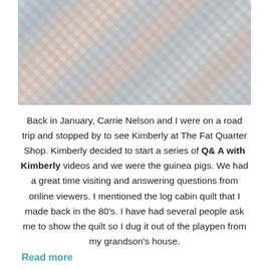[Figure (photo): Close-up photograph of a colorful patchwork log cabin quilt with various fabric patterns in muted tones of blue, pink, cream, and gray]
Back in January, Carrie Nelson and I were on a road trip and stopped by to see Kimberly at The Fat Quarter Shop. Kimberly decided to start a series of Q& A with Kimberly videos and we were the guinea pigs. We had a great time visiting and answering questions from online viewers. I mentioned the log cabin quilt that I made back in the 80's. I have had several people ask me to show the quilt so I dug it out of the playpen from my grandson's house.
Read more